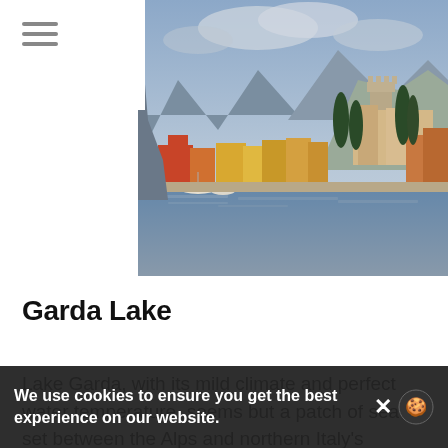[Figure (photo): Scenic view of Lake Garda with colorful Italian buildings along the waterfront, a medieval castle tower on a hill, tall cypress trees, and Alpine mountains in the background under a cloudy sky.]
Garda Lake
Lake Garda, with its mild climate and perfect water temperature, seems but a patch of sea set between the Alps and northern Italy's Pianura Padana (i.e. the Po River Plain). Garda – which touches the three bordering Regions of Lombardy, Trentino-Alto Adige and Veneto – is a territory characterized by palms oleander, olive trees and
We use cookies to ensure you get the best experience on our website.